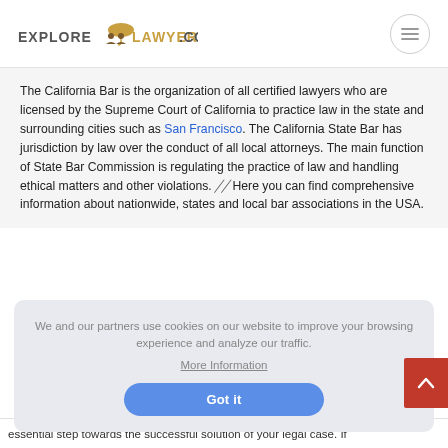EXPLORE LAWYERS.COM
The California Bar is the organization of all certified lawyers who are licensed by the Supreme Court of California to practice law in the state and surrounding cities such as San Francisco. The California State Bar has jurisdiction by law over the conduct of all local attorneys. The main function of State Bar Commission is regulating the practice of law and handling ethical matters and other violations. Here you can find comprehensive information about nationwide, states and local bar associations in the USA.
We and our partners use cookies on our website to improve your browsing experience and analyze our traffic. More Information Got it
essential step towards the successful solution of your legal case. If